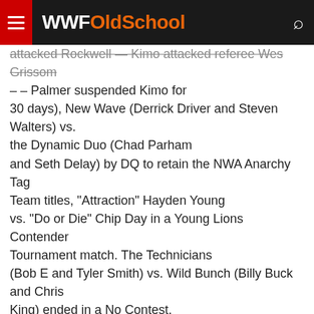WWFOldSchool
attacked Rockwell — Kimo attacked referee Wes Grissom – – Palmer suspended Kimo for 30 days), New Wave (Derrick Driver and Steven Walters) vs. the Dynamic Duo (Chad Parham and Seth Delay) by DQ to retain the NWA Anarchy Tag Team titles, "Attraction" Hayden Young vs. "Do or Die" Chip Day in a Young Lions Contender Tournament match. The Technicians (Bob E and Tyler Smith) vs. Wild Bunch (Billy Buck and Chris King) ended in a No Contest. "The Real" Slim J vs. J.T. Talent (with Drew Pendleton III) to retain the Young Lions Championship. The Devils' Rejects (Azrael and Iceberg and Shaun Tempers) vs. Culture Shock (Lane Norris and Outlaw) and Don Matthews after Jay Clinton distracted Matthews (Post-match, Rejects turned on Shaun Tempers, and Truitt Fields